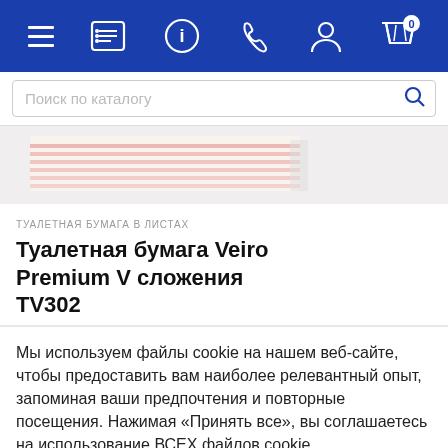Navigation bar with menu, contacts, info, phone, account, and cart icons
Поиск по каталогу
[Figure (photo): Partial product image of toilet paper packaging (Veiro Premium)]
ТУАЛЕТНАЯ БУМАГА В ЛИСТАХ
Туалетная бумага Veiro Premium V сложения TV302
Мы используем файлы cookie на нашем веб-сайте, чтобы предоставить вам наиболее релевантный опыт, запоминая ваши предпочтения и повторные посещения. Нажимая «Принять все», вы соглашаетесь на использование ВСЕХ файлов cookie.
Принять